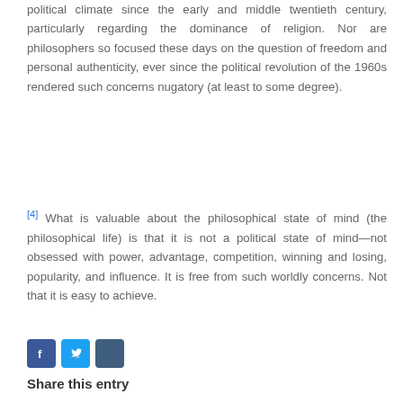political climate since the early and middle twentieth century, particularly regarding the dominance of religion. Nor are philosophers so focused these days on the question of freedom and personal authenticity, ever since the political revolution of the 1960s rendered such concerns nugatory (at least to some degree).
[4] What is valuable about the philosophical state of mind (the philosophical life) is that it is not a political state of mind—not obsessed with power, advantage, competition, winning and losing, popularity, and influence. It is free from such worldly concerns. Not that it is easy to achieve.
[Figure (other): Three social sharing icon buttons: Facebook (blue), Twitter (light blue), LinkedIn (dark blue-grey)]
Share this entry